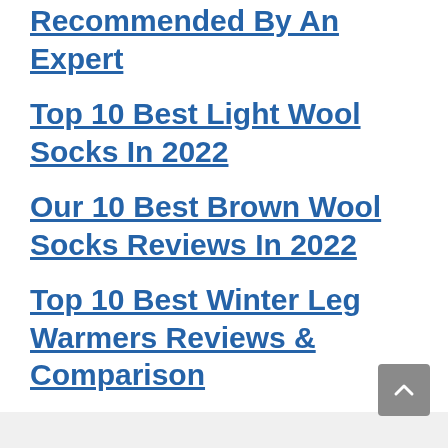Recommended By An Expert
Top 10 Best Light Wool Socks In 2022
Our 10 Best Brown Wool Socks Reviews In 2022
Top 10 Best Winter Leg Warmers Reviews & Comparison
Best-Products
Card Albums
Cooler Accessories
E-books
Jackets